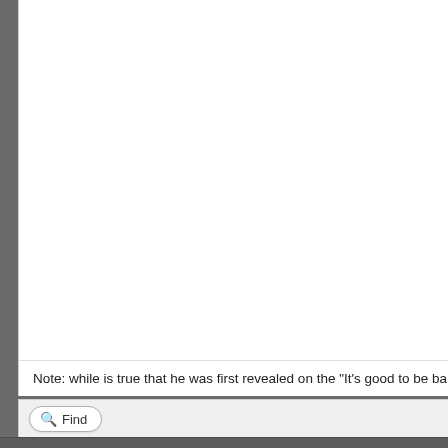Note: while is true that he was first revealed on the "It's good to be ba
Find